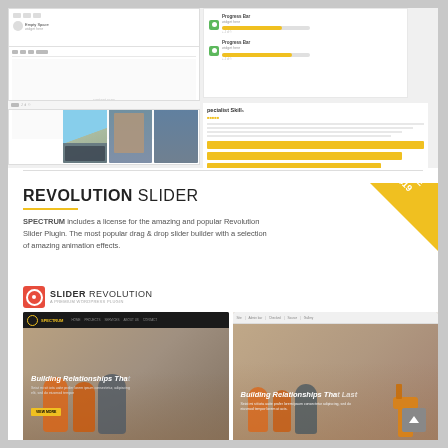[Figure (screenshot): Top portion showing a website builder interface with progress bar elements, construction photo gallery, Specialist Skills section with yellow form fields]
REVOLUTION SLIDER
[Figure (screenshot): Slider Revolution plugin logo and two website screenshots showing construction theme with 'Building Relationships That Last' hero text and workers in orange safety gear]